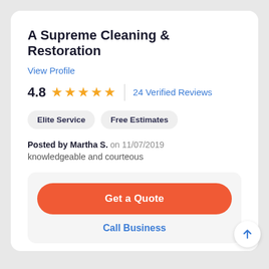A Supreme Cleaning & Restoration
View Profile
4.8  ★★★★★  |  24 Verified Reviews
Elite Service
Free Estimates
Posted by Martha S. on 11/07/2019
knowledgeable and courteous
Get a Quote
Call Business